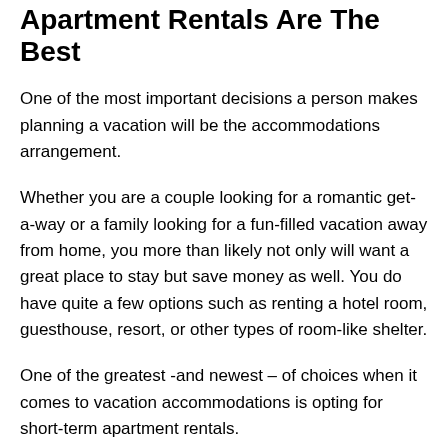Apartment Rentals Are The Best
One of the most important decisions a person makes planning a vacation will be the accommodations arrangement.
Whether you are a couple looking for a romantic get-a-way or a family looking for a fun-filled vacation away from home, you more than likely not only will want a great place to stay but save money as well. You do have quite a few options such as renting a hotel room, guesthouse, resort, or other types of room-like shelter.
One of the greatest -and newest – of choices when it comes to vacation accommodations is opting for short-term apartment rentals.
This type of accommodation choice will bring you the best